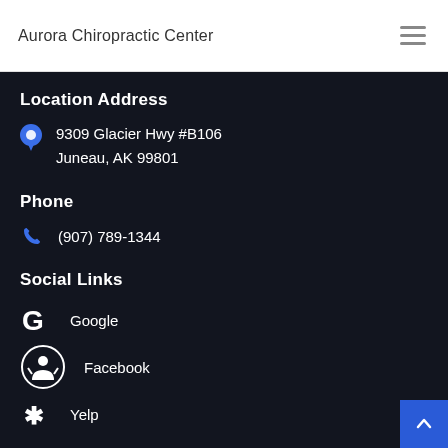Aurora Chiropractic Center
Location Address
9309 Glacier Hwy #B106
Juneau, AK 99801
Phone
(907) 789-1344
Social Links
Google
Facebook
Yelp